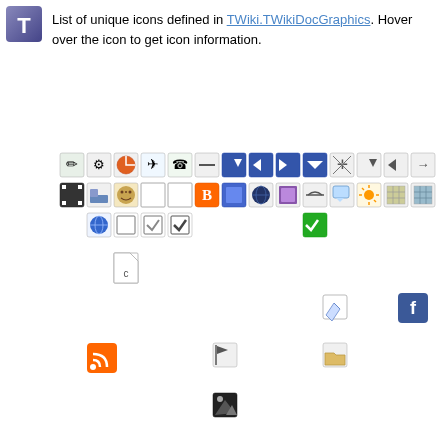[Figure (screenshot): TWiki T logo icon in top-left corner]
List of unique icons defined in TWiki.TWikiDocGraphics. Hover over the icon to get icon information.
[Figure (infographic): Grid of various TWiki wiki icons including navigation arrows, document icons, checkboxes, social media icons (RSS, Facebook), file icons, home icon, lock icon, user icon, search icon, and various other interface icons arranged in a sparse grid layout]